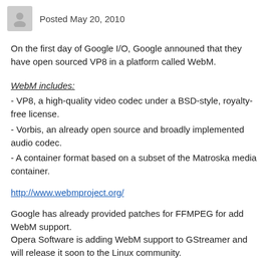Posted May 20, 2010
On the first day of Google I/O, Google announed that they have open sourced VP8 in a platform called WebM.
WebM includes:
- VP8, a high-quality video codec under a BSD-style, royalty-free license.
- Vorbis, an already open source and broadly implemented audio codec.
- A container format based on a subset of the Matroska media container.
http://www.webmproject.org/
Google has already provided patches for FFMPEG for add WebM support.
Opera Software is adding WebM support to GStreamer and will release it soon to the Linux community.
Youtube is already working on re-encoding all videos to